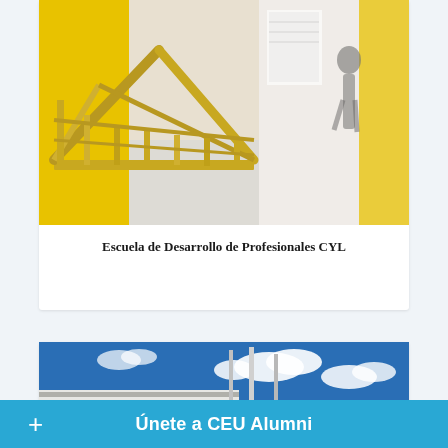[Figure (photo): Photo of an architectural scale model made of yellow/natural wood with triangular roof structure, placed in a corridor with yellow walls and white floor, people walking in background]
Escuela de Desarrollo de Profesionales CYL
[Figure (photo): Photo of a modern white building exterior with horizontal striped facade, tall metal poles/masts, blue sky with clouds]
+ Únete a CEU Alumni